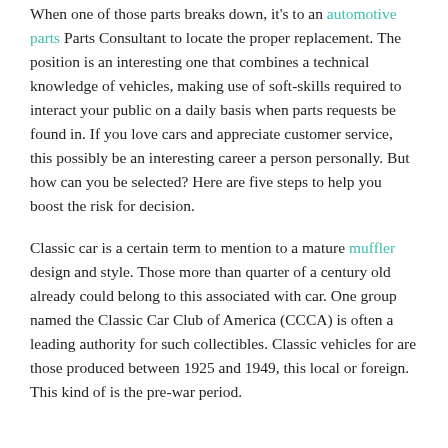When one of those parts breaks down, it's to an automotive parts Parts Consultant to locate the proper replacement. The position is an interesting one that combines a technical knowledge of vehicles, making use of soft-skills required to interact your public on a daily basis when parts requests be found in. If you love cars and appreciate customer service, this possibly be an interesting career a person personally. But how can you be selected? Here are five steps to help you boost the risk for decision.
Classic car is a certain term to mention to a mature muffler design and style. Those more than quarter of a century old already could belong to this associated with car. One group named the Classic Car Club of America (CCCA) is often a leading authority for such collectibles. Classic vehicles for are those produced between 1925 and 1949, this local or foreign. This kind of is the pre-war period.